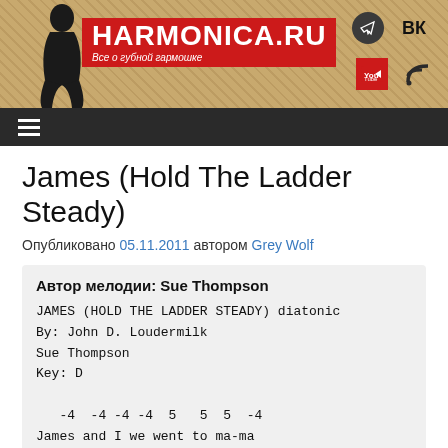HARMONICA.RU — Все о губной гармошке
James (Hold The Ladder Steady)
Опубликовано 05.11.2011 автором Grey Wolf
Автор мелодии: Sue Thompson
JAMES (HOLD THE LADDER STEADY) diatonic
By: John D. Loudermilk
Sue Thompson
Key: D

   -4  -4 -4 -4  5   5  5  -4
James and I we went to ma-ma
 4     -6    -6   -6 -6 -6🄫 -6  -7
and showed her my di-a-mond ring